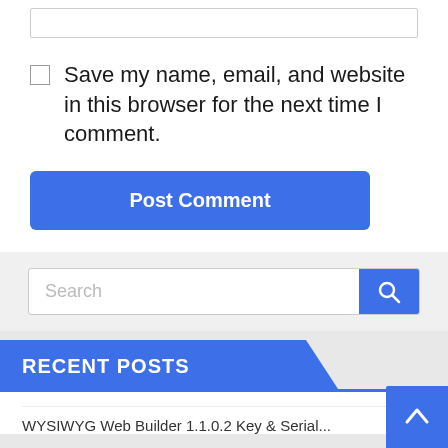[Figure (screenshot): A text input field (empty, with border) at the top of a comment form]
Save my name, email, and website in this browser for the next time I comment.
[Figure (screenshot): A blue 'Post Comment' button]
[Figure (screenshot): A search bar with a blue search icon button on the right]
RECENT POSTS
WYSIWYG Web Builder 1.1.0.2 Key & Serial...